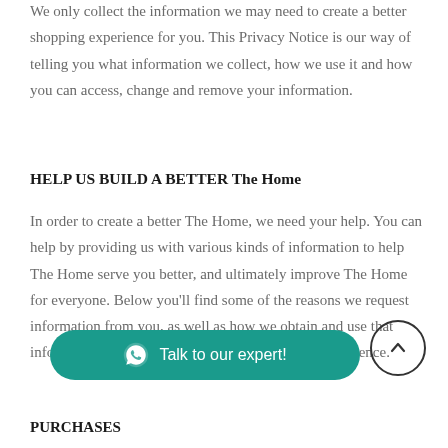We only collect the information we may need to create a better shopping experience for you. This Privacy Notice is our way of telling you what information we collect, how we use it and how you can access, change and remove your information.
HELP US BUILD A BETTER The Home
In order to create a better The Home, we need your help. You can help by providing us with various kinds of information to help The Home serve you better, and ultimately improve The Home for everyone. Below you’ll find some of the reasons we request information from you, as well as how we obtain and use that information to improve your experience.
PURCHASES